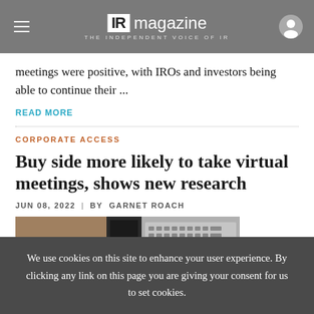IR magazine — THE INDEPENDENT VOICE OF IR
meetings were positive, with IROs and investors being able to continue their ...
READ MORE
CORPORATE ACCESS
Buy side more likely to take virtual meetings, shows new research
JUN 08, 2022  |  BY  GARNET ROACH
[Figure (photo): Cropped photo of desk with papers and keyboard]
We use cookies on this site to enhance your user experience. By clicking any link on this page you are giving your consent for us to set cookies.